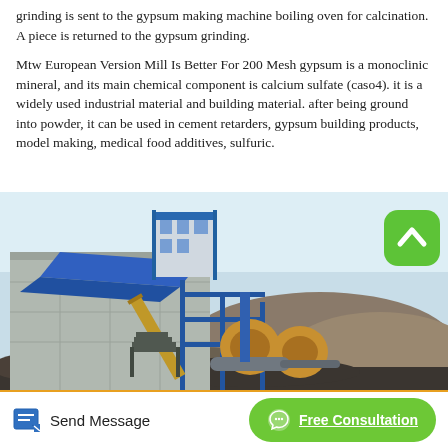grinding is sent to the gypsum making machine boiling oven for calcination. A piece is returned to the gypsum grinding.
Mtw European Version Mill Is Better For 200 Mesh gypsum is a monoclinic mineral, and its main chemical component is calcium sulfate (caso4). it is a widely used industrial material and building material. after being ground into powder, it can be used in cement retarders, gypsum building products, model making, medical food additives, sulfuric.
[Figure (photo): Industrial photograph of a gypsum grinding/crushing plant facility showing large machinery, conveyor systems, blue metal structures, an operator control tower, and large piles of raw mineral material in the background.]
Send Message
Free Consultation